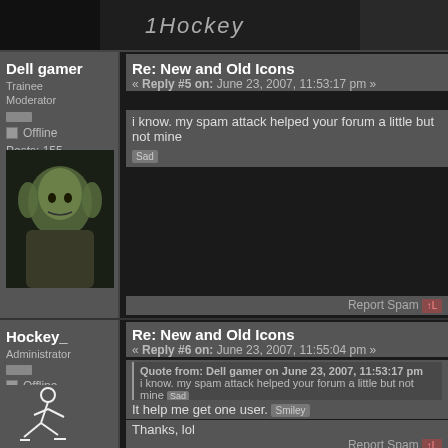[Figure (screenshot): Forum top banner with '1Hockey' text and dark background]
Dell gamer
Trainee Moderator
Offline
Posts: 155
Re: New and Old Icons
« Reply #5 on: June 23, 2007, 11:53:17 pm »
i know. my spam attack helped your forum a little but not mine
Report Spam
Hockey_
Administrator
Offline
Posts: 363
Re: New and Old Icons
« Reply #6 on: June 23, 2007, 11:55:04 pm »
Quote from: Dell gamer on June 23, 2007, 11:53:17 pm
i know. my spam attack helped your forum a little but not mine
It help me get one user.
Thanks, lol
Report Spam